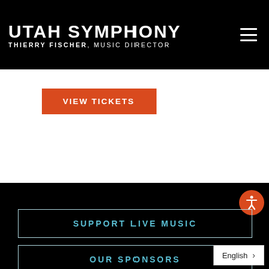UTAH SYMPHONY — THIERRY FISCHER, MUSIC DIRECTOR
VIEW TICKETS
[Figure (screenshot): Black background section with accessibility icon (orange circle with white person/accessibility symbol)]
SUPPORT LIVE MUSIC
OUR SPONSORS
English >